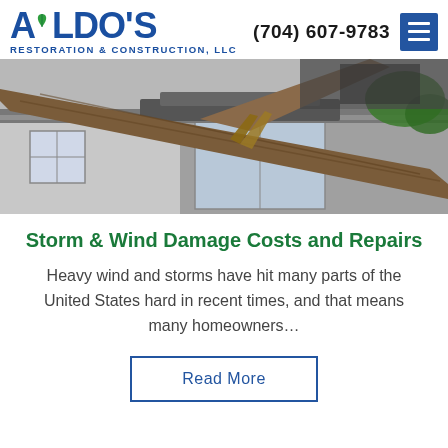Aldo's Restoration & Construction, LLC — (704) 607-9783
[Figure (photo): A large tree fallen through a house roof, damaging shingles and gutters, with a window and siding visible in the background.]
Storm & Wind Damage Costs and Repairs
Heavy wind and storms have hit many parts of the United States hard in recent times, and that means many homeowners…
Read More